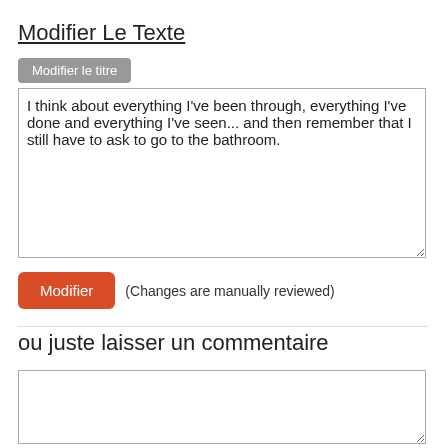Modifier Le Texte
Modifier le titre
I think about everything I've been through, everything I've done and everything I've seen... and then remember that I still have to ask to go to the bathroom.
Modifier (Changes are manually reviewed)
ou juste laisser un commentaire